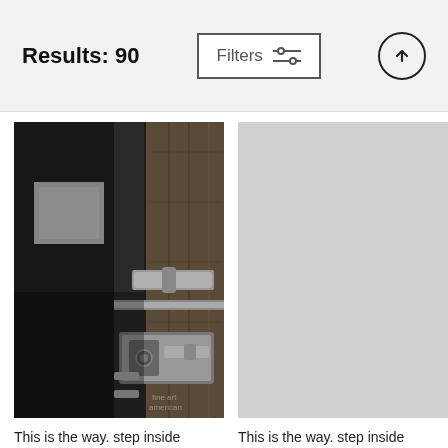Results: 90
Filters
[Figure (photo): Black and white photograph of a wooden barn door with metal latch/bolt hardware. A bright white window is visible in the upper left background through the dark interior.]
This is the way. step inside
Traven Milovich
$22
This is the way. step inside
Traven Milovich
$22